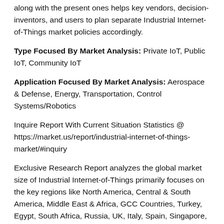along with the present ones helps key vendors, decision-inventors, and users to plan separate Industrial Internet-of-Things market policies accordingly.
Type Focused By Market Analysis: Private IoT, Public IoT, Community IoT
Application Focused By Market Analysis: Aerospace & Defense, Energy, Transportation, Control Systems/Robotics
Inquire Report With Current Situation Statistics @ https://market.us/report/industrial-internet-of-things-market/#inquiry
Exclusive Research Report analyzes the global market size of Industrial Internet-of-Things primarily focuses on the key regions like North America, Central & South America, Middle East & Africa, GCC Countries, Turkey, Egypt, South Africa, Russia, UK, Italy, Spain, Singapore, Malaysia, Philippines, Thailand, Asia-Pacific, China,